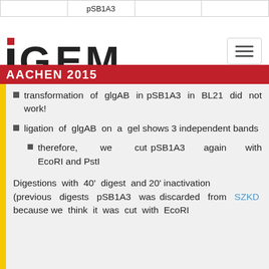|  | pSB1A3 |  |  |
| --- | --- | --- | --- |
|  |
[Figure (logo): iGEM Aachen 2015 logo with red and black stylized text and AACHEN 2015 red banner]
transformation of glgAB in pSB1A3 in BL21 did not work!
ligation of glgAB on a gel shows 3 independent bands
therefore, we cut pSB1A3 again with EcoRI and PstI
Digestions with 40' digest and 20' inactivation (previous digests pSB1A3 was discarded from SZKD because we think it was cut with EcoRI